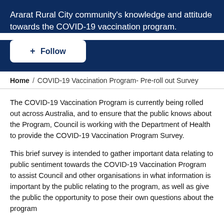Ararat Rural City community's knowledge and attitude towards the COVID-19 vaccination program.
[Figure (other): Follow button widget on dark blue banner background]
Home / COVID-19 Vaccination Program- Pre-roll out Survey
The COVID-19 Vaccination Program is currently being rolled out across Australia, and to ensure that the public knows about the Program, Council is working with the Department of Health to provide the COVID-19 Vaccination Program Survey.
This brief survey is intended to gather important data relating to public sentiment towards the COVID-19 Vaccination Program to assist Council and other organisations in what information is important by the public relating to the program, as well as give the public the opportunity to pose their own questions about the program